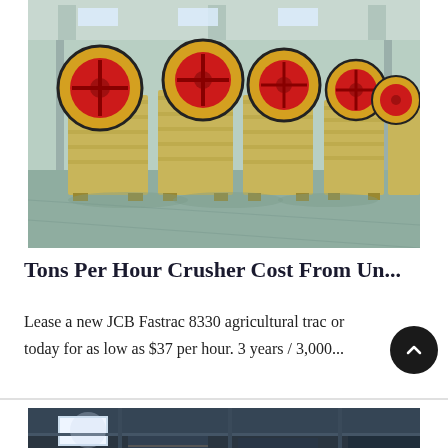[Figure (photo): Multiple yellow jaw crusher machines with large red and black flywheels arranged in rows on a green factory floor inside an industrial warehouse with steel frame structure and skylights.]
Tons Per Hour Crusher Cost From Un...
Lease a new JCB Fastrac 8330 agricultural tractor today for as low as $37 per hour. 3 years / 3,000...
[Figure (photo): Partial view of an industrial facility interior with blue-tinted steel structures, staircases, and lighting visible at the bottom of the page.]